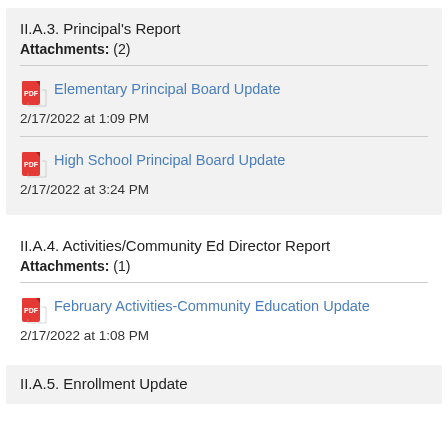II.A.3. Principal's Report
Attachments: (2)
Elementary Principal Board Update
2/17/2022 at 1:09 PM
High School Principal Board Update
2/17/2022 at 3:24 PM
II.A.4. Activities/Community Ed Director Report
Attachments: (1)
February Activities-Community Education Update
2/17/2022 at 1:08 PM
II.A.5. Enrollment Update